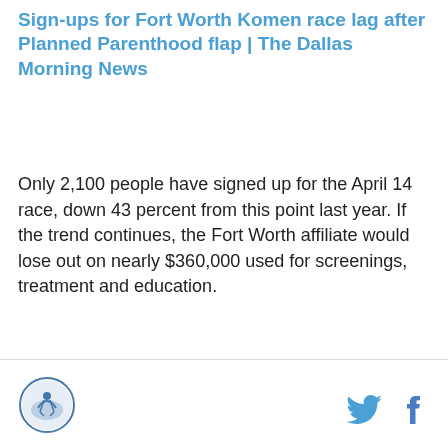Sign-ups for Fort Worth Komen race lag after Planned Parenthood flap | The Dallas Morning News
Only 2,100 people have signed up for the April 14 race, down 43 percent from this point last year. If the trend continues, the Fort Worth affiliate would lose out on nearly $360,000 used for screenings, treatment and education.
[logo] [twitter] [facebook]